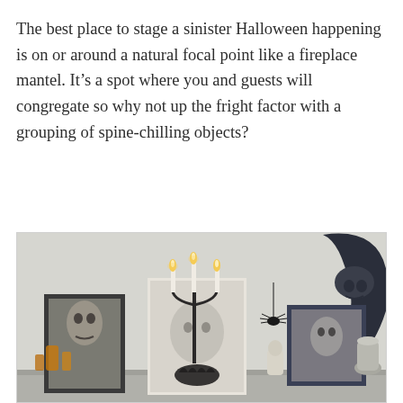The best place to stage a sinister Halloween happening is on or around a natural focal point like a fireplace mantel. It’s a spot where you and guests will congregate so why not up the fright factor with a grouping of spine-chilling objects?
[Figure (photo): A Halloween-decorated fireplace mantel featuring framed spooky portraits, a black candelabra with lit white candles, a large dark crescent moon cutout with skull detail on the wall, a hanging spider, amber glass bottles, assorted Halloween objects, and vintage-looking framed art.]